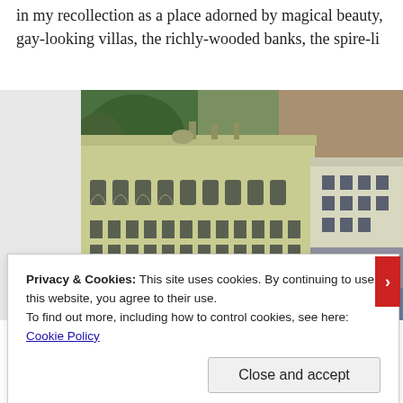in my recollection as a place adorned by magical beauty, gay-looking villas, the richly-wooded banks, the spire-li
[Figure (photo): The Villa Pliniana, Torno — a large historic Italian villa building with yellow-green facade, arched windows, and stone lower section, set against a wooded hillside, with water in the foreground.]
The Villa Pliniana, Torno. Mary and Percy Bysshe Shelley had stayed here. very exclusive (i.e. expensive) hot
Privacy & Cookies: This site uses cookies. By continuing to use this website, you agree to their use.
To find out more, including how to control cookies, see here: Cookie Policy
Close and accept